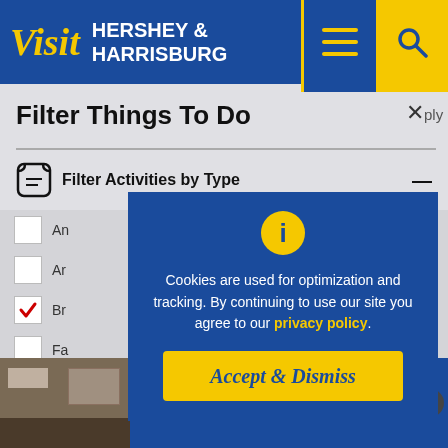[Figure (screenshot): Visit Hershey & Harrisburg website header with logo, hamburger menu icon, and search icon]
Filter Things To Do
Filter Activities by Type
Cookies are used for optimization and tracking. By continuing to use our site you agree to our privacy policy.
Accept & Dismiss
[Figure (screenshot): Holiday Inn Harrisburg East advertisement banner with Book Now button]